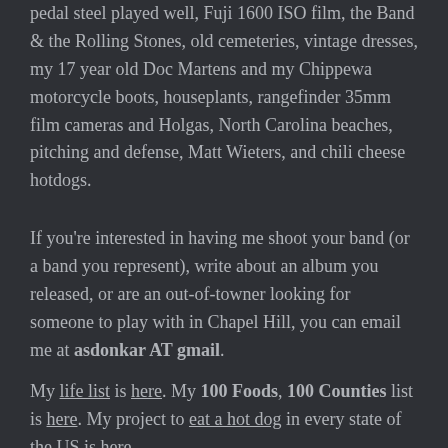pedal steel played well, Fuji 1600 ISO film, the Band & the Rolling Stones, old cemeteries, vintage dresses, my 17 year old Doc Martens and my Chippewa motorcycle boots, houseplants, rangefinder 35mm film cameras and Holgas, North Carolina beaches, pitching and defense, Matt Wieters, and chili cheese hotdogs.
If you're interested in having me shoot your band (or a band you represent), write about an album you released, or are an out-of-towner looking for someone to play with in Chapel Hill, you can email me at asdonkar AT gmail.
My life list is here. My 100 Foods, 100 Counties list is here. My project to eat a hot dog in every state of the US is here.